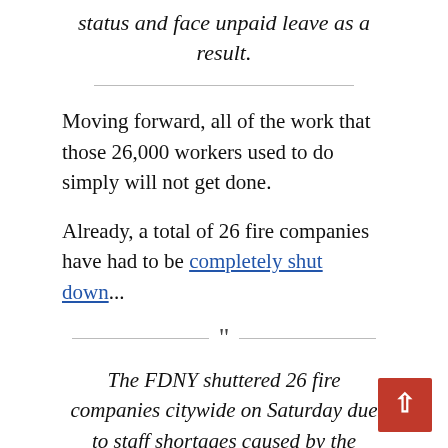status and face unpaid leave as a result.
Moving forward, all of the work that those 26,000 workers used to do simply will not get done.
Already, a total of 26 fire companies have had to be completely shut down...
The FDNY shuttered 26 fire companies citywide on Saturday due to staff shortages caused by the COVID-19 vaccination mandate, according to furious elected